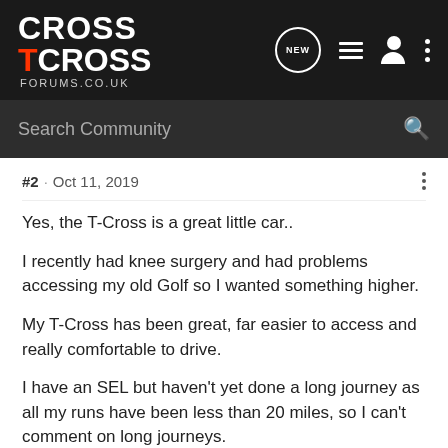[Figure (logo): TCross Forums.co.uk logo with red T and white CROSS text on dark background]
Search Community
#2 · Oct 11, 2019
Yes, the T-Cross is a great little car..

I recently had knee surgery and had problems accessing my old Golf so I wanted something higher.

My T-Cross has been great, far easier to access and really comfortable to drive.

I have an SEL but haven't yet done a long journey as all my runs have been less than 20 miles, so I can't comment on long journeys.
However, I find it very comfortable once I got the seat adjustment right, and very nice to drive.